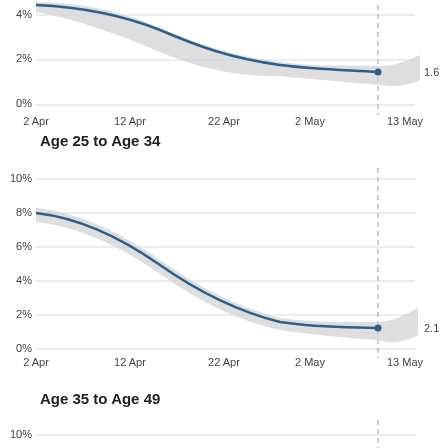[Figure (continuous-plot): Line chart showing trend for Age 25 to Age 34 group from 2 Apr to 13 May, starting around 8% and declining to 2.1% with confidence interval shading. Dashed vertical line near 13 May. End value labeled 2.1.]
Age 25 to Age 34
[Figure (continuous-plot): Line chart showing trend for Age 35 to Age 49 group from 2 Apr to 13 May, starting around 10% range with dashed vertical line near 13 May.]
Age 35 to Age 49